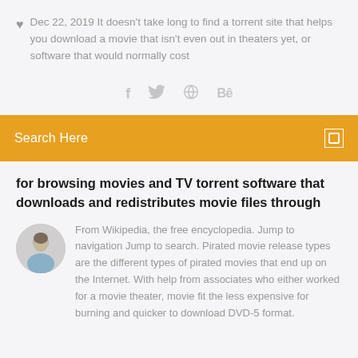Dec 22, 2019 It doesn't take long to find a torrent site that helps you download a movie that isn't even out in theaters yet, or software that would normally cost
[Figure (infographic): Social media sharing icons: Facebook (f), Twitter bird, a circular icon, and Behance (Be)]
Search Here
for browsing movies and TV torrent software that downloads and redistributes movie files through
From Wikipedia, the free encyclopedia. Jump to navigation Jump to search. Pirated movie release types are the different types of pirated movies that end up on the Internet. With help from associates who either worked for a movie theater, movie fit the less expensive for burning and quicker to download DVD-5 format.